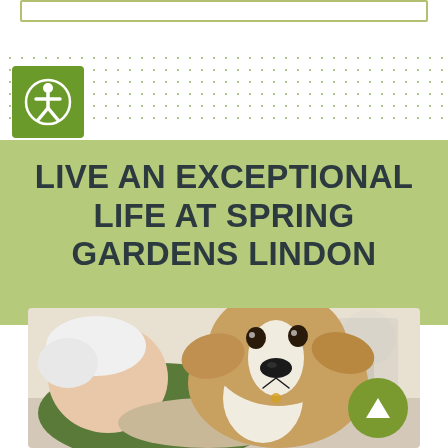[Figure (other): White rounded rectangle input bar at top of page]
[Figure (other): Dotted pattern background with green accessibility icon (person in circle) in a green square on the left]
LIVE AN EXCEPTIONAL LIFE AT SPRING GARDENS LINDON
[Figure (photo): Elderly woman with white hair hugging a beagle dog, wearing a dark green top, photographed in a cozy indoor setting]